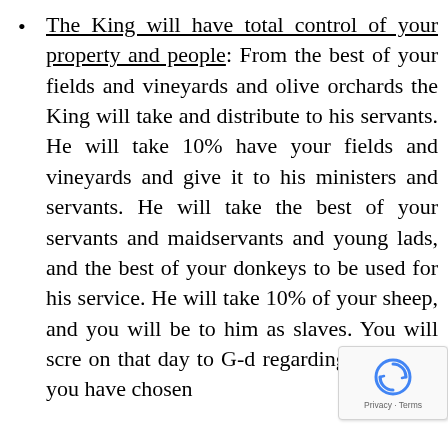The King will have total control of your property and people: From the best of your fields and vineyards and olive orchards the King will take and distribute to his servants. He will take 10% have your fields and vineyards and give it to his ministers and servants. He will take the best of your servants and maidservants and young lads, and the best of your donkeys to be used for his service. He will take 10% of your sheep, and you will be to him as slaves. You will scre on that day to G-d regarding King that you have chosen